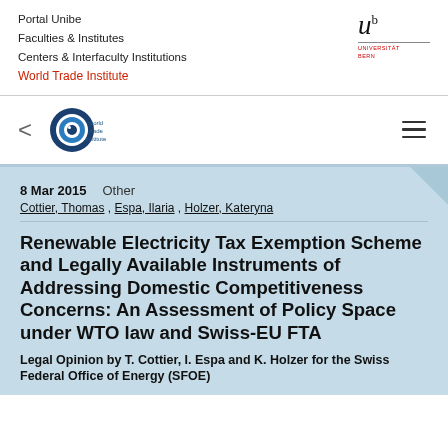Portal Unibe
Faculties & Institutes
Centers & Interfaculty Institutions
World Trade Institute
[Figure (logo): University of Bern logo with italic u and superscript b, red UNIVERSITÄT BERN text]
[Figure (logo): World Trade Institute eye logo with blue concentric circles and text 'world trade institute']
8 Mar 2015    Other
Cottier, Thomas , Espa, Ilaria , Holzer, Kateryna
Renewable Electricity Tax Exemption Scheme and Legally Available Instruments of Addressing Domestic Competitiveness Concerns: An Assessment of Policy Space under WTO law and Swiss-EU FTA
Legal Opinion by T. Cottier, I. Espa and K. Holzer for the Swiss Federal Office of Energy (SFOE)